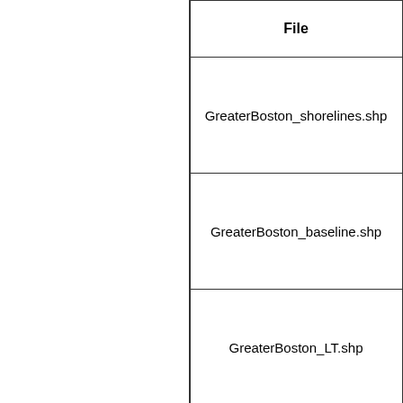| File |
| --- |
| GreaterBoston_shorelines.shp |
| GreaterBoston_baseline.shp |
| GreaterBoston_LT.shp |